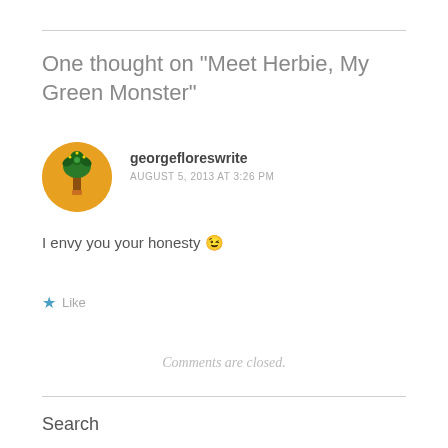One thought on “Meet Herbie, My Green Monster”
georgefloreswrite
AUGUST 5, 2013 AT 3:26 PM
I envy you your honesty 😉
★ Like
Comments are closed.
Search